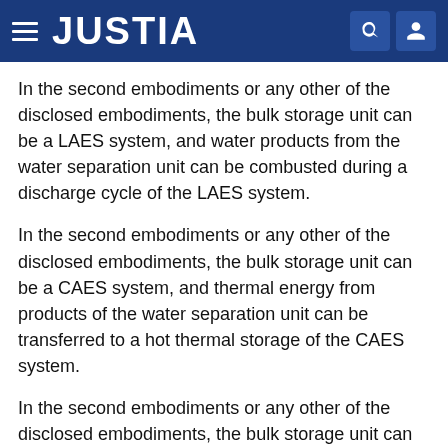JUSTIA
In the second embodiments or any other of the disclosed embodiments, the bulk storage unit can be a LAES system, and water products from the water separation unit can be combusted during a discharge cycle of the LAES system.
In the second embodiments or any other of the disclosed embodiments, the bulk storage unit can be a CAES system, and thermal energy from products of the water separation unit can be transferred to a hot thermal storage of the CAES system.
In the second embodiments or any other of the disclosed embodiments, the bulk storage unit can be a CAES system, and water products from the water separation unit can be combusted during a discharge cycle of the CAES system.